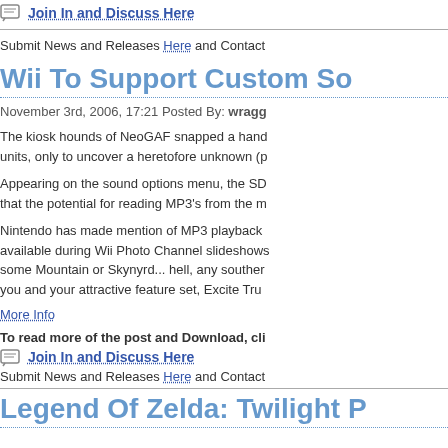Join In and Discuss Here
Submit News and Releases Here and Contact
Wii To Support Custom So
November 3rd, 2006, 17:21 Posted By: wragg
The kiosk hounds of NeoGAF snapped a hand units, only to uncover a heretofore unknown (p
Appearing on the sound options menu, the SD that the potential for reading MP3's from the m
Nintendo has made mention of MP3 playback available during Wii Photo Channel slideshows some Mountain or Skynyrd... hell, any souther you and your attractive feature set, Excite Tru
More Info
To read more of the post and Download, cli
Join In and Discuss Here
Submit News and Releases Here and Contact
Legend Of Zelda: Twilight P